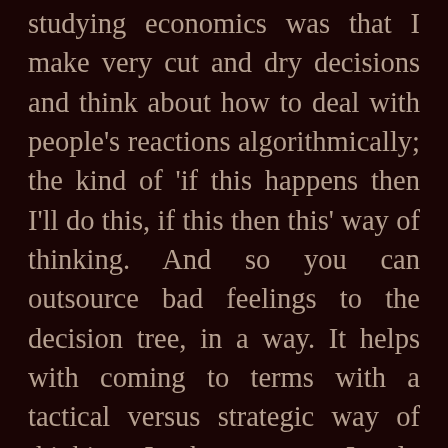studying economics was that I make very cut and dry decisions and think about how to deal with people's reactions algorithmically; the kind of 'if this happens then I'll do this, if this then this' way of thinking. And so you can outsource bad feelings to the decision tree, in a way. It helps with coming to terms with a tactical versus strategic way of thinking. In the moment, I only know a certain set of possible reactions, and so I can assign them to different ways the girl acts; it helps me to stay cool in the moment. We all have these and they're called heuristics: quick and dirty (or short and sweet) reactions. Strategically, when I can come up with different action plans, then I could have acted in a better way and sure I might